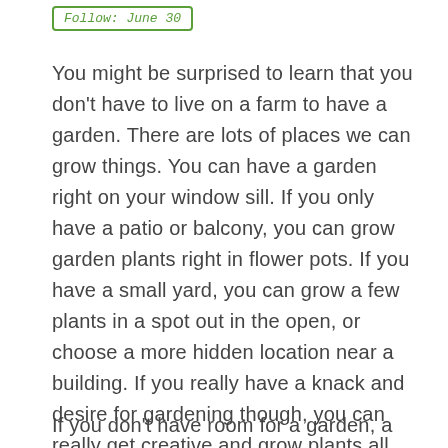Follow: June 30
You might be surprised to learn that you don't have to live on a farm to have a garden. There are lots of places we can grow things. You can have a garden right on your window sill.  If you only have a patio or balcony, you can grow garden plants right in flower pots.  If you have a small yard, you can grow a few plants in a spot out in the open, or choose a more hidden location near a building.  If you really have a knack and desire for gardening though, you can really get creative and grow plants all over the place.  I have seen folks grow cucumbers around their mailbox even!
If you don't have room for a garden, a fun